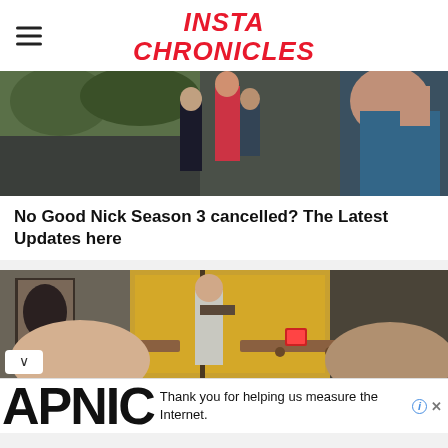INSTA CHRONICLES
[Figure (photo): Scene from a TV show with people standing outdoors on a street, with trees and parked cars in background]
No Good Nick Season 3 cancelled? The Latest Updates here
[Figure (photo): Scene from a TV show with people sitting and standing in what appears to be a coffee shop or restaurant interior]
[Figure (other): APNIC advertisement banner: Thank you for helping us measure the Internet.]